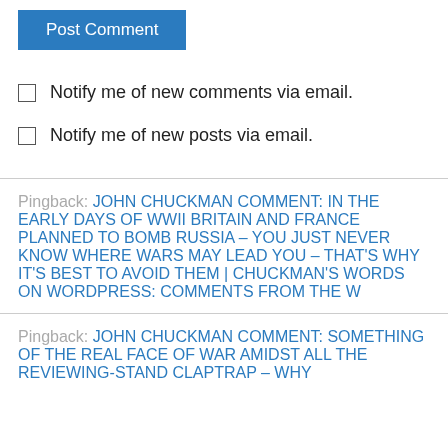Post Comment
Notify me of new comments via email.
Notify me of new posts via email.
Pingback: JOHN CHUCKMAN COMMENT: IN THE EARLY DAYS OF WWII BRITAIN AND FRANCE PLANNED TO BOMB RUSSIA – YOU JUST NEVER KNOW WHERE WARS MAY LEAD YOU – THAT'S WHY IT'S BEST TO AVOID THEM | CHUCKMAN'S WORDS ON WORDPRESS: COMMENTS FROM THE W
Pingback: JOHN CHUCKMAN COMMENT: SOMETHING OF THE REAL FACE OF WAR AMIDST ALL THE REVIEWING-STAND CLAPTRAP – WHY